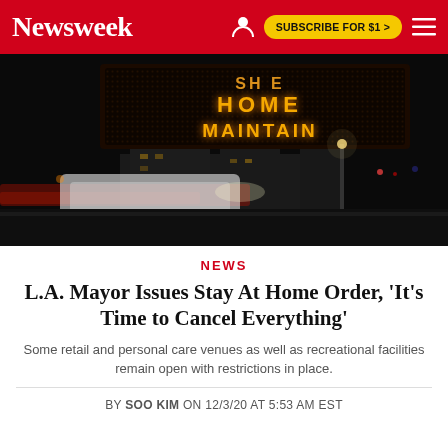Newsweek | SUBSCRIBE FOR $1 >
[Figure (photo): Night scene with an illuminated LED sign reading 'STAY HOME MAINTAIN' with cars blurred in motion passing in the foreground. Dark urban environment.]
NEWS
L.A. Mayor Issues Stay At Home Order, 'It's Time to Cancel Everything'
Some retail and personal care venues as well as recreational facilities remain open with restrictions in place.
BY SOO KIM ON 12/3/20 AT 5:53 AM EST